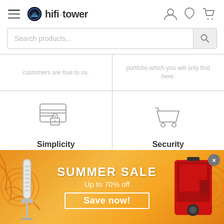hifi·tower website header with navigation and search bar
customers are true to us.
portfolio which you will only find here.
[Figure (illustration): Credit card with lock icon representing Simplicity]
Simplicity
[Figure (illustration): Shopping cart icon representing Security]
Security
[Figure (illustration): Payment method badges: VISA, MasterCard, PayPal, Bank Transfer]
[Figure (illustration): Trust badges: Trustpilot Approved by Customers, SSL Datensicherheit]
[Figure (illustration): Summer Sale promotional banner with microphone and kitchen appliance products. Text: SUMMER SALE, Up to 70% off, Save now!]